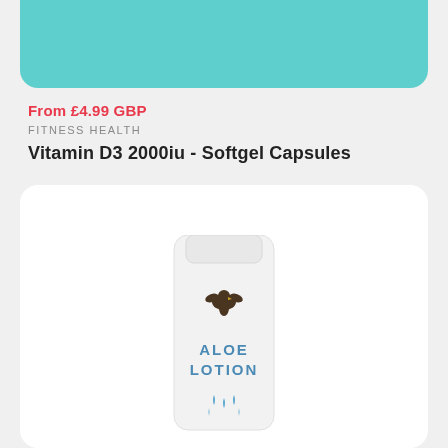[Figure (photo): Teal/turquoise rounded card at top of page, partial product image background]
From £4.99 GBP
FITNESS HEALTH
Vitamin D3 2000iu - Softgel Capsules
[Figure (photo): White rounded card containing a white squeeze tube product labeled 'ALOE LOTION' with a brown eagle logo and blue water droplets icon]